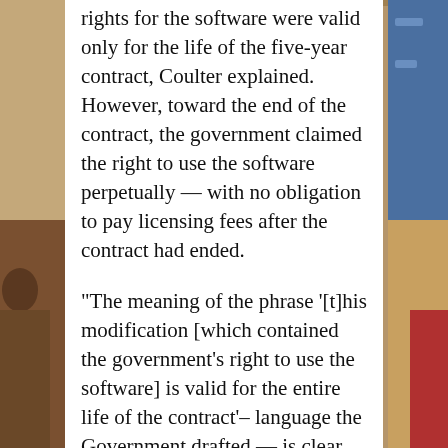[Figure (photo): Background photo showing people seated, with a blue banner/sign visible on the right edge. A white article text card overlays the center of the image.]
rights for the software were valid only for the life of the five-year contract, Coulter explained. However, toward the end of the contract, the government claimed the right to use the software perpetually — with no obligation to pay licensing fees after the contract had ended.
“The meaning of the phrase ‘[t]his modification [which contained the government’s right to use the software] is valid for the entire life of the contract’– language the Government drafted — is clear and unambiguous,” the attorney said, “Despite acknowledging the clarity of its own language, the government later